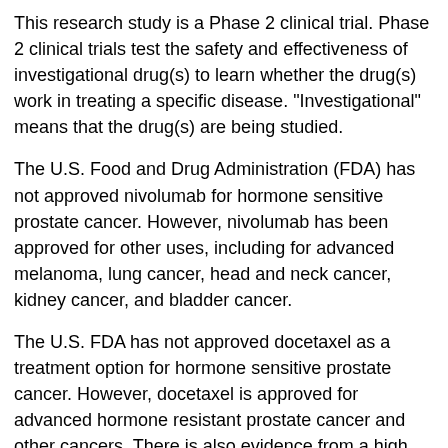This research study is a Phase 2 clinical trial. Phase 2 clinical trials test the safety and effectiveness of investigational drug(s) to learn whether the drug(s) work in treating a specific disease. "Investigational" means that the drug(s) are being studied.
The U.S. Food and Drug Administration (FDA) has not approved nivolumab for hormone sensitive prostate cancer. However, nivolumab has been approved for other uses, including for advanced melanoma, lung cancer, head and neck cancer, kidney cancer, and bladder cancer.
The U.S. FDA has not approved docetaxel as a treatment option for hormone sensitive prostate cancer. However, docetaxel is approved for advanced hormone resistant prostate cancer and other cancers. There is also evidence from a high quality, phase 3 randomized clinical trial supporting the use of docetaxel in metastatic hormone sensitive prostate cancer patients who have a high burden of metastasis. Docetaxel is an off-label indication for hormone sensitive prostate cancer.
The U.S. FDA has approved androgen deprivation therapy (ADT)